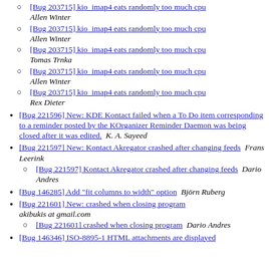[Bug 203715] kio_imap4 eats randomly too much cpu  Allen Winter
[Bug 203715] kio_imap4 eats randomly too much cpu  Allen Winter
[Bug 203715] kio_imap4 eats randomly too much cpu  Tomas Trnka
[Bug 203715] kio_imap4 eats randomly too much cpu  Allen Winter
[Bug 203715] kio_imap4 eats randomly too much cpu  Rex Dieter
[Bug 221596] New: KDE Kontact failed when a To Do item corresponding to a reminder posted by the KOrganizer Reminder Daemon was being closed after it was edited.  K. A. Sayeed
[Bug 221597] New: Kontact Akregator crashed after changing feeds  Frans Leerink
[Bug 221597] Kontact Akregator crashed after changing feeds  Dario Andres
[Bug 146285] Add "fit columns to width" option  Björn Ruberg
[Bug 221601] New: crashed when closing program  akibukis at gmail.com
[Bug 221601] crashed when closing program  Dario Andres
[Bug 146346] ISO-8895-1 HTML attachments are displayed